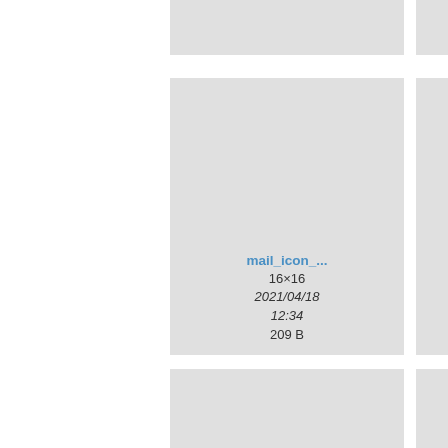[Figure (screenshot): File browser grid view showing image thumbnails. Row 1 (partial/cropped): three grey placeholder cards partially visible at top. Row 2: mail_icon_... card (16×16, 2021/04/18 12:34, 209 B), muc3-logo.... card (150×128, 2021/04/18 12:34, 16.2 KB), open.gi... card (7×13, 2021/04/18 12:34, 54 B). Row 3 (partially cropped at bottom): rabbitproof.... card (1626×281, 2021/04/18 12:34), rabbitproof.... card (1626×281, 2021/04/18 12:34), rabbitproo... card (1626×28..., 2021/04/..., 12:34).]